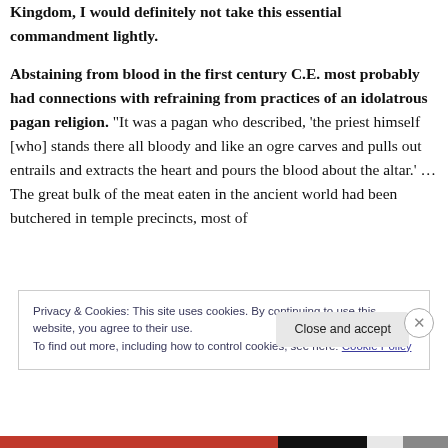Kingdom, I would definitely not take this essential commandment lightly. Abstaining from blood in the first century C.E. most probably had connections with refraining from practices of an idolatrous pagan religion. "It was a pagan who described, 'the priest himself [who] stands there all bloody and like an ogre carves and pulls out entrails and extracts the heart and pours the blood about the altar.' …The great bulk of the meat eaten in the ancient world had been butchered in temple precincts, most of
Privacy & Cookies: This site uses cookies. By continuing to use this website, you agree to their use.
To find out more, including how to control cookies, see here: Cookie Policy